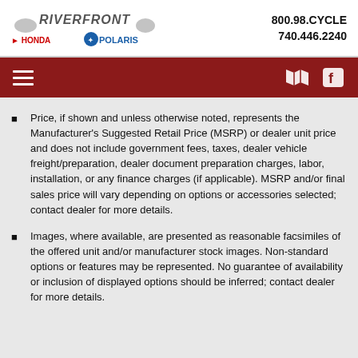RIVERFRONT HONDA POLARIS | 800.98.CYCLE | 740.446.2240
Price, if shown and unless otherwise noted, represents the Manufacturer's Suggested Retail Price (MSRP) or dealer unit price and does not include government fees, taxes, dealer vehicle freight/preparation, dealer document preparation charges, labor, installation, or any finance charges (if applicable). MSRP and/or final sales price will vary depending on options or accessories selected; contact dealer for more details.
Images, where available, are presented as reasonable facsimiles of the offered unit and/or manufacturer stock images. Non-standard options or features may be represented. No guarantee of availability or inclusion of displayed options should be inferred; contact dealer for more details.